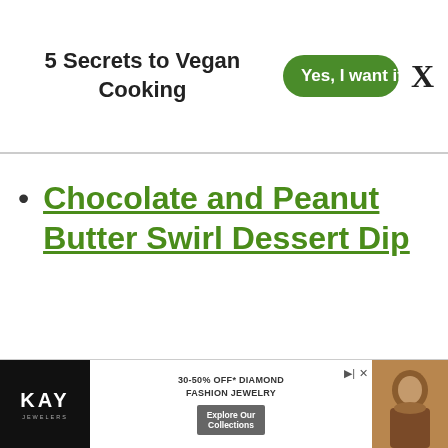5 Secrets to Vegan Cooking  Yes, I want it→  X
Chocolate and Peanut Butter Swirl Dessert Dip
[Figure (other): Kay Jewelers advertisement: black background with KAY logo, text '30-50% OFF* DIAMOND FASHION JEWELRY', 'Explore Our Collections' button, and a photo of a woman wearing jewelry.]